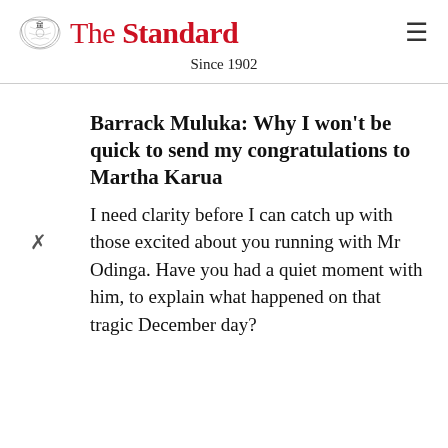The Standard — Since 1902
Barrack Muluka: Why I won't be quick to send my congratulations to Martha Karua
I need clarity before I can catch up with those excited about you running with Mr Odinga. Have you had a quiet moment with him, to explain what happened on that tragic December day?